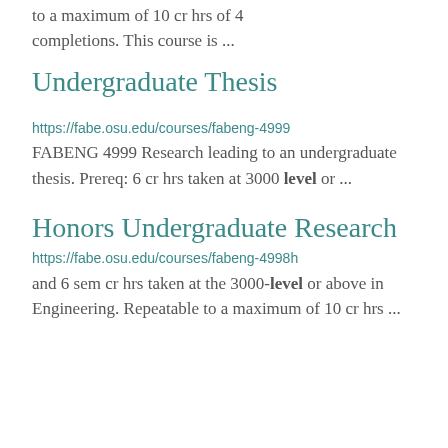to a maximum of 10 cr hrs of 4 completions. This course is ...
Undergraduate Thesis
https://fabe.osu.edu/courses/fabeng-4999
FABENG 4999 Research leading to an undergraduate thesis. Prereq: 6 cr hrs taken at 3000 level or ...
Honors Undergraduate Research
https://fabe.osu.edu/courses/fabeng-4998h
and 6 sem cr hrs taken at the 3000-level or above in Engineering. Repeatable to a maximum of 10 cr hrs ...